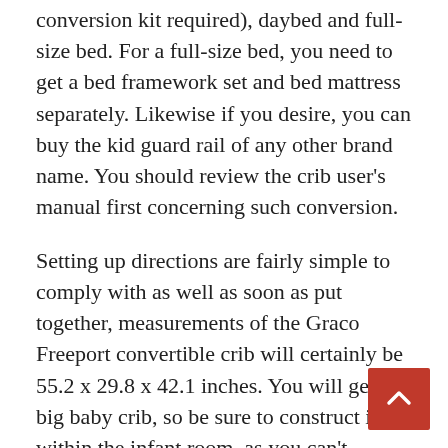conversion kit required), daybed and full-size bed. For a full-size bed, you need to get a bed framework set and bed mattress separately. Likewise if you desire, you can buy the kid guard rail of any other brand name. You should review the crib user's manual first concerning such conversion.
Setting up directions are fairly simple to comply with as well as soon as put together, measurements of the Graco Freeport convertible crib will certainly be 55.2 x 29.8 x 42.1 inches. You will get a big baby crib, so be sure to construct it within the infant room, as you can't relocate from door to door after setting up.
Much Like Graco Lauren exchangeable baby cribs Lauren baby crib, the Freeport design is also JP accredited. It additionally fulfills or goes beyond all